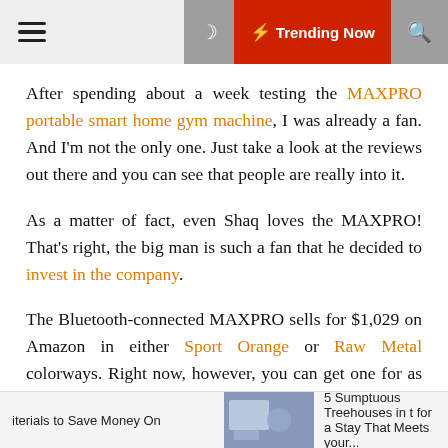≡  🌙  ⚡ Trending Now  🔍
After spending about a week testing the MAXPRO portable smart home gym machine, I was already a fan. And I'm not the only one. Just take a look at the reviews out there and you can see that people are really into it.
As a matter of fact, even Shaq loves the MAXPRO! That's right, the big man is such a fan that he decided to invest in the company.
The Bluetooth-connected MAXPRO sells for $1,029 on Amazon in either Sport Orange or Raw Metal colorways. Right now, however, you can get one for as little as
iterials to Save Money On  |  5 Sumptuous Treehouses in t for a Stay That Meets your...